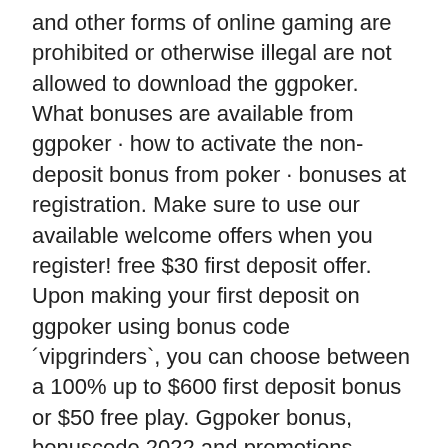and other forms of online gaming are prohibited or otherwise illegal are not allowed to download the ggpoker. What bonuses are available from ggpoker · how to activate the non-deposit bonus from poker · bonuses at registration. Make sure to use our available welcome offers when you register! free $30 first deposit offer. Upon making your first deposit on ggpoker using bonus code ´vipgrinders`, you can choose between a 100% up to $600 first deposit bonus or $50 free play. Ggpoker bonus, bonuscode 2022 and promotions. Ggpoker currently offers a generous 100% up to 600$ welcome bonus. 5$ for every $20 paid in net rake/tournament. Promotions &amp; bonus information. A question we're often asked is: can i get a ggpoker no deposit bonus as a new customer? unfortunately, the. Promo code, no code necessary. First deposit bonus, 100% on first deposit up to $600.